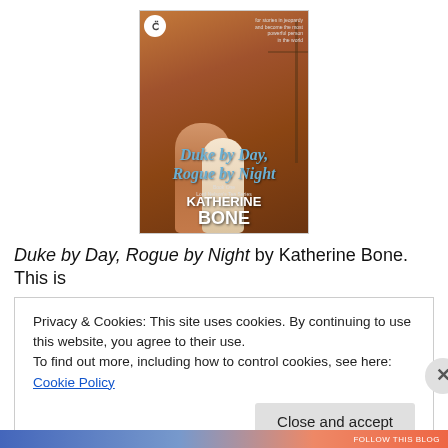[Figure (illustration): Book cover of 'Duke by Day, Rogue by Night' by Katherine Bone. Shows a shirtless man embracing a blonde woman in a white dress, with sailing ship masts in the background. Blue title text in italic serif font. Publisher logo (circular C) in top-left corner.]
Duke by Day, Rogue by Night by Katherine Bone. This is
Privacy & Cookies: This site uses cookies. By continuing to use this website, you agree to their use.
To find out more, including how to control cookies, see here: Cookie Policy
Close and accept